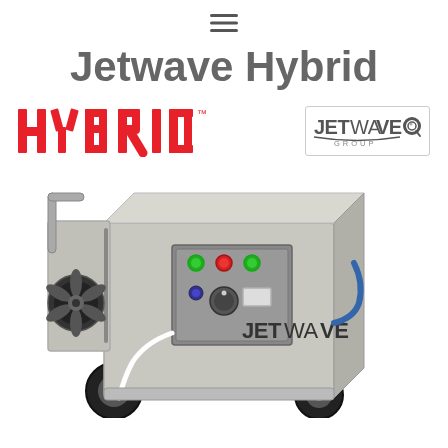≡
Jetwave Hybrid
[Figure (logo): HYBRID™ logo in red stylized lettering]
[Figure (logo): JETWAVE GROUP logo with magnifying glass search icon]
[Figure (photo): Jetwave Hybrid high-pressure water jetting machine — a stainless steel portable unit with open panel showing controls (green and red buttons, dials), a fan, wheels, and JETWAVE branding on the side]